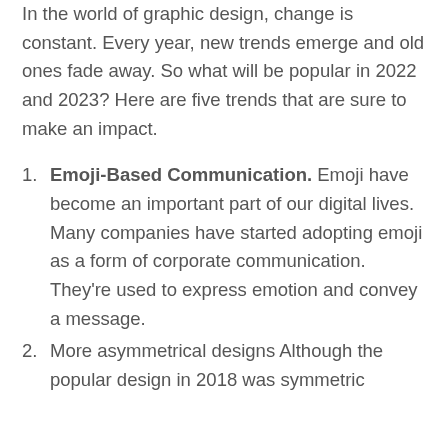In the world of graphic design, change is constant. Every year, new trends emerge and old ones fade away. So what will be popular in 2022 and 2023? Here are five trends that are sure to make an impact.
Emoji-Based Communication. Emoji have become an important part of our digital lives. Many companies have started adopting emoji as a form of corporate communication. They're used to express emotion and convey a message.
More asymmetrical designs Although the popular design in 2018 was symmetric...